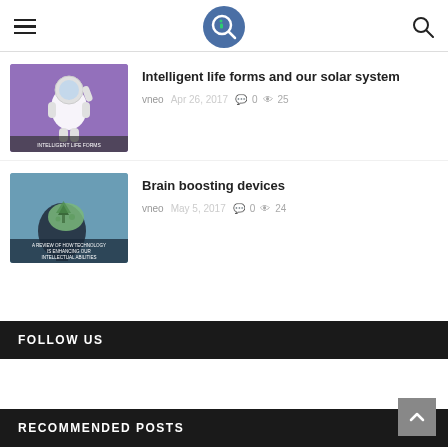vneo blog header with hamburger menu, logo, and search icon
Intelligent life forms and our solar system
vneo   Apr 26, 2017   0   25
Brain boosting devices
vneo   May 5, 2017   0   24
FOLLOW US
RECOMMENDED POSTS